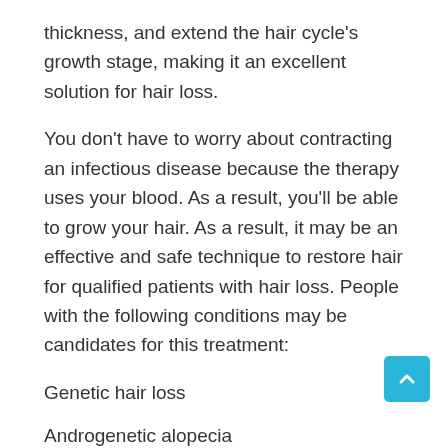thickness, and extend the hair cycle's growth stage, making it an excellent solution for hair loss.
You don't have to worry about contracting an infectious disease because the therapy uses your blood. As a result, you'll be able to grow your hair. As a result, it may be an effective and safe technique to restore hair for qualified patients with hair loss. People with the following conditions may be candidates for this treatment:
Genetic hair loss
Androgenetic alopecia
Stress-related hair loss
People with early hair loss tend to respond best to